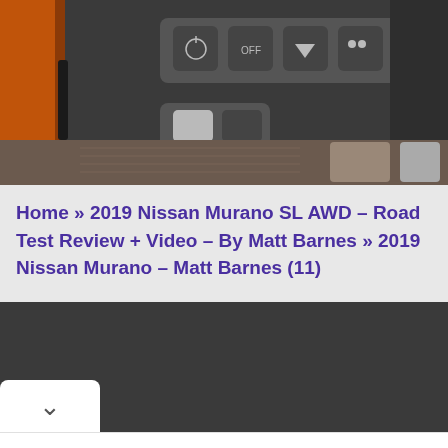[Figure (photo): Interior photo of a Nissan Murano dashboard showing button panel with icons including climate, parking sensors, and camera controls, with carpeted footwell visible at bottom]
Home » 2019 Nissan Murano SL AWD – Road Test Review + Video – By Matt Barnes » 2019 Nissan Murano – Matt Barnes (11)
[Figure (other): Dark section with a white chevron/collapse button at bottom left]
[Figure (other): Advertisement for Hair Cuttery: Walk-Ins Available, featuring HC logo in yellow circle and a blue diamond navigation arrow]